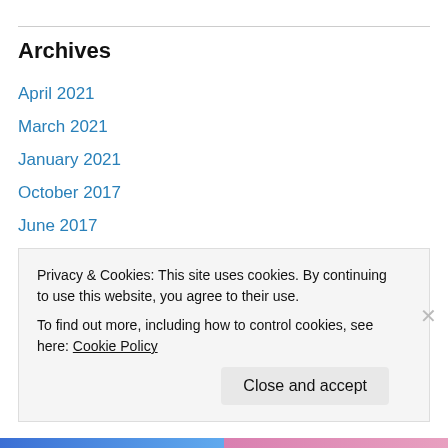Archives
April 2021
March 2021
January 2021
October 2017
June 2017
May 2017
April 2017
March 2017
February 2017
January 2017
Privacy & Cookies: This site uses cookies. By continuing to use this website, you agree to their use.
To find out more, including how to control cookies, see here: Cookie Policy